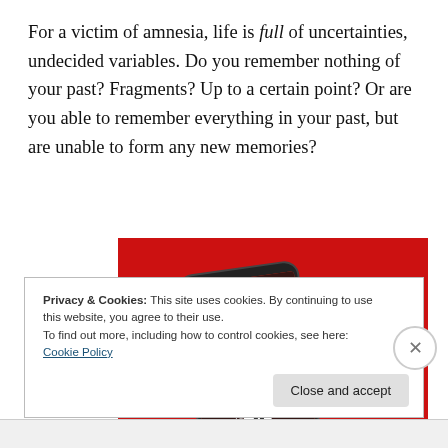For a victim of amnesia, life is full of uncertainties, undecided variables. Do you remember nothing of your past? Fragments? Up to a certain point? Or are you able to remember everything in your past, but are unable to form any new memories?
[Figure (screenshot): Advertisement banner showing a smartphone with a podcast app open on a red background. Text reads 'Dis-trib-uted' and 'listeners.' with a 'Download now' button.]
Privacy & Cookies: This site uses cookies. By continuing to use this website, you agree to their use.
To find out more, including how to control cookies, see here: Cookie Policy
Close and accept